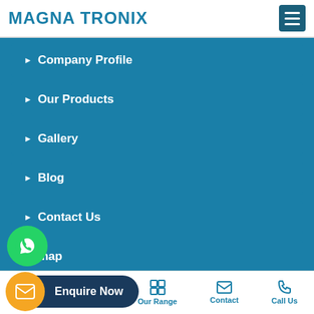MAGNA TRONIX
Company Profile
Our Products
Gallery
Blog
Contact Us
map
[Figure (screenshot): WhatsApp floating button (green circle)]
[Figure (screenshot): Enquire Now pill button with orange mail icon]
[Figure (screenshot): Scroll-up orange circle button]
Home | About Us | Our Range | Contact | Call Us